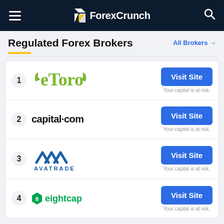ForexCrunch
Regulated Forex Brokers
All Brokers →
1 eToro – Visit Site – Your capital is at risk.
2 capital.com – Visit Site – Your capital is at risk.
3 AVATRADE – Visit Site – Your capital is at risk.
4 eightcap – Visit Site – Your capital is at risk.